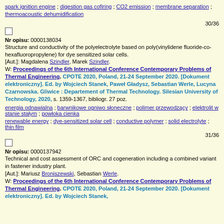spark ignition engine ; digestion gas cofiring ; CO2 emission ; membrane separation ; thermoacoustic dehumidification
30/36
Nr opisu: 0000138034
Structure and conductivity of the polyelectrolyte based on poly(vinylidene fluoride-co- hexafluoropropylene) for dye sensitized solar cells.
[Aut.]: Magdalena Szindler, Marek Szindler.
W: Proceedings of the 6th International Conference Contemporary Problems of Thermal Engineering. CPOTE 2020, Poland, 21-24 September 2020. [Dokument elektroniczny]. Ed. by Wojciech Stanek, Paweł Gładysz, Sebastian Werle, Lucyna Czarnowska. Gliwice : Departement of Thermal Technology. Silesian University of Technology, 2020, s. 1359-1367, bibliogr. 27 poz.
energia odnawialna ; barwnikowe ogniwo słoneczne ; polimer przewodzący ; elektrolit w stanie stałym ; powłoka cienka
renewable energy ; dye-sensitized solar cell ; conductive polymer ; solid electrolyte ; thin film
31/36
Nr opisu: 0000137942
Technical and cost assessment of ORC and cogeneration including a combined variant in fastener industry plant.
[Aut.]: Mariusz Broniszewski, Sebastian Werle.
W: Proceedings of the 6th International Conference Contemporary Problems of Thermal Engineering. CPOTE 2020, Poland, 21-24 September 2020. [Dokument elektroniczny]. Ed. by Wojciech Stanek,